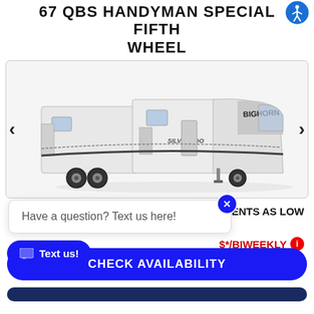67 QBS HANDYMAN SPECIAL FIFTH WHEEL
[Figure (photo): Photo of a large white fifth-wheel RV trailer, branded 'Bighorn Silverado', shown at an angle on a white background inside a carousel widget with left and right navigation arrows.]
LIST PRICE: $9,999
PAYMENTS AS LOW
Have a question? Text us here!
$*/BIWEEKLY
CHECK AVAILABILITY
Text us!